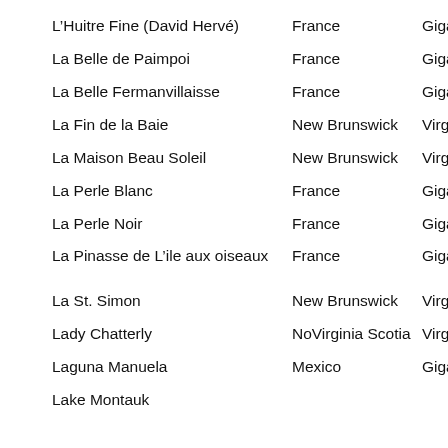| L'Huitre Fine (David Hervé) | France | Gigas |
| La Belle de Paimpoi | France | Gigas |
| La Belle Fermanvillaisse | France | Gigas |
| La Fin de la Baie | New Brunswick | Virginica |
| La Maison Beau Soleil | New Brunswick | Virginica |
| La Perle Blanc | France | Gigas |
| La Perle Noir | France | Gigas |
| La Pinasse de L'ile aux oiseaux | France | Gigas |
| La St. Simon | New Brunswick | Virginica |
| Lady Chatterly | NoVirginia Scotia | Virginica |
| Laguna Manuela | Mexico | Gigas |
| Lake Montauk | ... | Virginica |